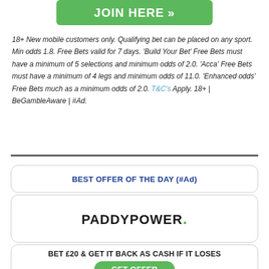[Figure (other): Green JOIN HERE button with double chevrons]
18+ New mobile customers only. Qualifying bet can be placed on any sport. Min odds 1.8. Free Bets valid for 7 days. 'Build Your Bet' Free Bets must have a minimum of 5 selections and minimum odds of 2.0. 'Acca' Free Bets must have a minimum of 4 legs and minimum odds of 11.0. 'Enhanced odds' Free Bets much as a minimum odds of 2.0. T&C's Apply. 18+ | BeGambleAware | #Ad.
BEST OFFER OF THE DAY (#Ad)
[Figure (logo): PADDYPOWER. logo in black with green dot]
BET £20 & GET IT BACK AS CASH IF IT LOSES
[Figure (other): Green GET OFFER button]